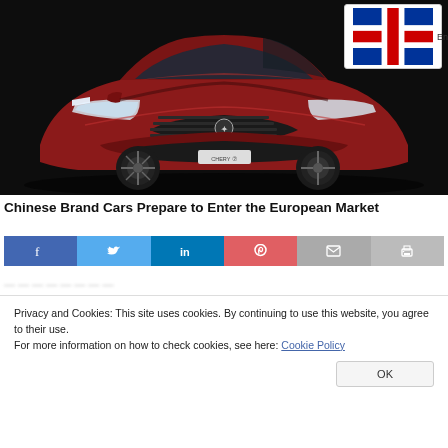[Figure (photo): Red Chinese-brand SUV car (Chery or similar) on a dark background, front three-quarter view, with an English language selector overlay in the top right corner]
Chinese Brand Cars Prepare to Enter the European Market
[Figure (infographic): Social media share buttons row: Facebook (blue), Twitter (light blue), LinkedIn (blue), Pinterest (red), Email (grey), Print (grey)]
Privacy and Cookies: This site uses cookies. By continuing to use this website, you agree to their use.
For more information on how to check cookies, see here: Cookie Policy
OK